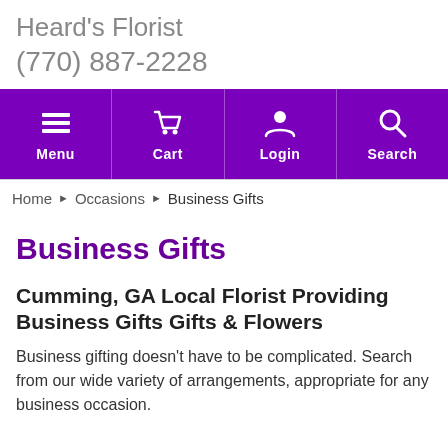Heard's Florist
(770) 887-2228
[Figure (screenshot): Purple navigation bar with icons for Menu, Cart, Login, Search]
Home › Occasions › Business Gifts
Business Gifts
Cumming, GA Local Florist Providing Business Gifts Gifts & Flowers
Business gifting doesn't have to be complicated. Search from our wide variety of arrangements, appropriate for any business occasion.